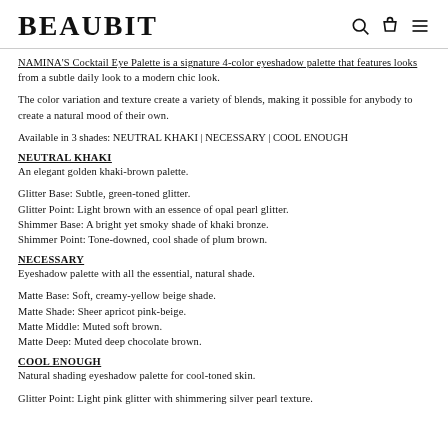BEAUBIT
NAMINA'S Cocktail Eye Palette is a signature 4-color eyeshadow palette that features looks from a subtle daily look to a modern chic look.
The color variation and texture create a variety of blends, making it possible for anybody to create a natural mood of their own.
Available in 3 shades: NEUTRAL KHAKI | NECESSARY | COOL ENOUGH
NEUTRAL KHAKI
An elegant golden khaki-brown palette.
Glitter Base: Subtle, green-toned glitter.
Glitter Point: Light brown with an essence of opal pearl glitter.
Shimmer Base: A bright yet smoky shade of khaki bronze.
Shimmer Point: Tone-downed, cool shade of plum brown.
NECESSARY
Eyeshadow palette with all the essential, natural shade.
Matte Base: Soft, creamy-yellow beige shade.
Matte Shade: Sheer apricot pink-beige.
Matte Middle: Muted soft brown.
Matte Deep: Muted deep chocolate brown.
COOL ENOUGH
Natural shading eyeshadow palette for cool-toned skin.
Glitter Point: Light pink glitter with shimmering silver pearl texture.